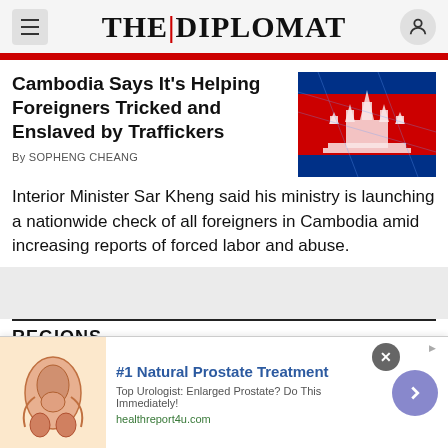THE | DIPLOMAT
Cambodia Says It’s Helping Foreigners Tricked and Enslaved by Traffickers
[Figure (photo): Cambodia flag with Angkor Wat temple silhouette overlay in red and blue]
By SOPHENG CHEANG
Interior Minister Sar Kheng said his ministry is launching a nationwide check of all foreigners in Cambodia amid increasing reports of forced labor and abuse.
REGIONS
[Figure (infographic): Advertisement banner: #1 Natural Prostate Treatment – Top Urologist: Enlarged Prostate? Do This Immediately! healthreport4u.com, with anatomical illustration and navigation arrow button]